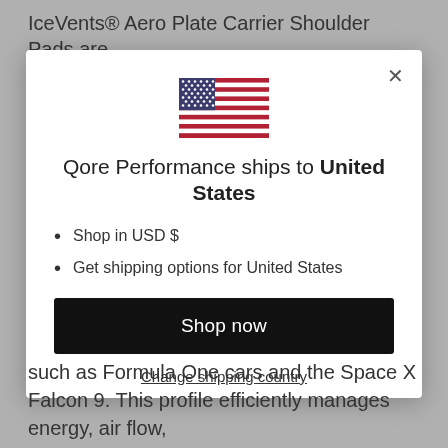IceVents® Aero Plate Carrier Shoulder Pads are
[Figure (screenshot): A modal dialog popup on a website. Contains a US flag icon, the text 'Qore Performance ships to United States', bullet points for 'Shop in USD $' and 'Get shipping options for United States', a 'Shop now' button, and a 'Change shipping country' link. A close (X) button is in the top right corner.]
such as Formula One cars and the Space X Falcon 9. This profile efficiently manages energy, air flow,